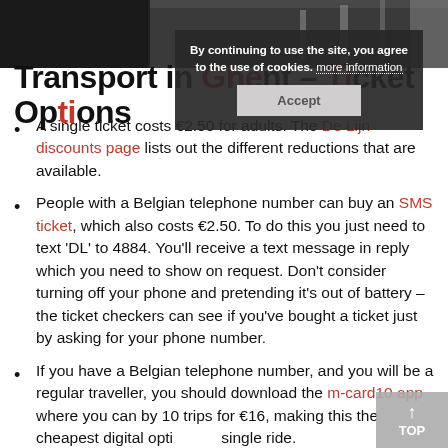[Figure (photo): Black and white photo strip at top of page showing an urban/transport scene]
By continuing to use the site, you agree to the use of cookies. more information
Accept
Transport in Ghent – Ticket Options
A single ticket costs €2.50 for adults. The De Lijn discounts page lists out the different reductions that are available.
People with a Belgian telephone number can buy an SMS ticket, which also costs €2.50. To do this you just need to text 'DL' to 4884. You'll receive a text message in reply which you need to show on request. Don't consider turning off your phone and pretending it's out of battery – the ticket checkers can see if you've bought a ticket just by asking for your phone number.
If you have a Belgian telephone number, and you will be a regular traveller, you should download the m-card10 app where you can by 10 trips for €16, making this the cheapest digital option per single ride.